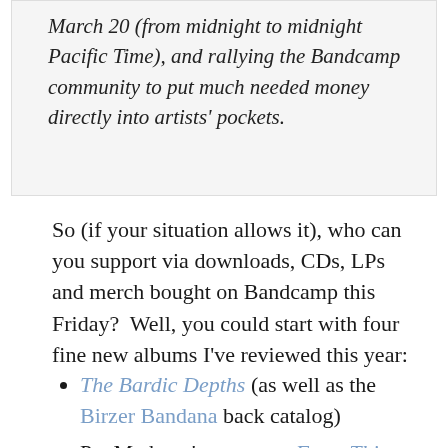March 20 (from midnight to midnight Pacific Time), and rallying the Bandcamp community to put much needed money directly into artists' pockets.
So (if your situation allows it), who can you support via downloads, CDs, LPs and merch bought on Bandcamp this Friday?  Well, you could start with four fine new albums I've reviewed this year:
The Bardic Depths (as well as the Birzer Bandana back catalog)
Pat Metheny's gorgeous From This Place
Fernando Perdomo's Out to Sea 3 (as well as the